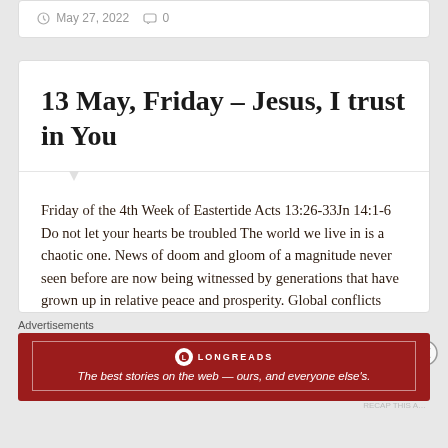May 27, 2022   0
13 May, Friday – Jesus, I trust in You
Friday of the 4th Week of Eastertide Acts 13:26-33Jn 14:1-6 Do not let your hearts be troubled The world we live in is a chaotic one. News of doom and gloom of a magnitude never seen before are now being witnessed by generations that have grown up in relative peace and prosperity. Global conflicts
Advertisements
[Figure (infographic): Longreads advertisement banner in red: 'The best stories on the web — ours, and everyone else's.']